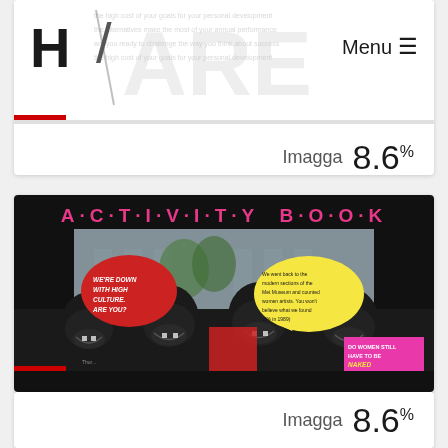[Figure (screenshot): Website header with large bold H and slash, watermark text ARE in background, Menu with hamburger icon top right, red accent bar at bottom left]
Imagga  8.6%
[Figure (photo): Book cover image: A·C·T·I·V·I·T·Y B·O·O·K in pink letters on black background, with people wearing gorilla masks, speech bubbles reading 'WE'RE DOWN WITH HIGH CULTURE. ARE YOU?' and 'We went back to the modern sections of the Met Museum and counted women artists. You won't believe what we found (5% in 1989)' and 'DO WOMEN STILL HAVE TO BE NAKED TO GET INTO THE...']
Imagga  8.6%